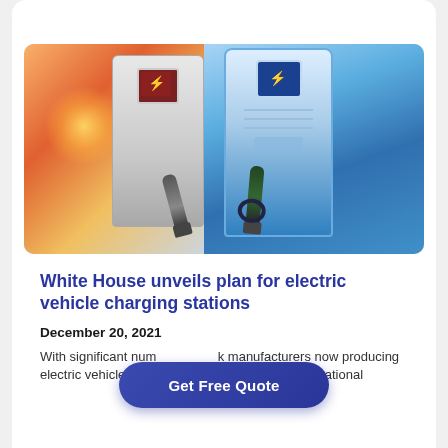[Figure (photo): Two electric vehicle charging stations mounted on a wall, with charging cables/plugs hanging down. Left charger has a dark reddish screen, right charger is blue/white with a blue branded screen. Warm orange light flare visible on the left background.]
White House unveils plan for electric vehicle charging stations
December 20, 2021
With significant num... k manufacturers now producing electric vehicles, the White House announced a national